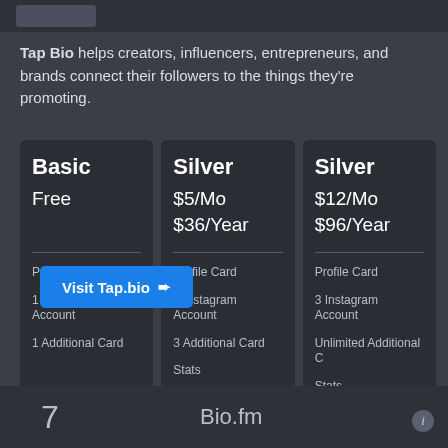Tap Bio helps creators, influencers, entrepreneurs, and brands connect their followers to the things they're promoting.
| Basic | Silver | Silver |
| --- | --- | --- |
| Free | $5/Mo
$36/Year | $12/Mo
$96/Year |
| Profile Card | Profile Card | Profile Card |
| 1 Instagram Account | 1 Instagram Account | 3 Instagram Account |
| 1 Additional Card | 3 Additional Card | Unlimited Additional C |
|  | Stats | Stats |
Visit Tap.bio →